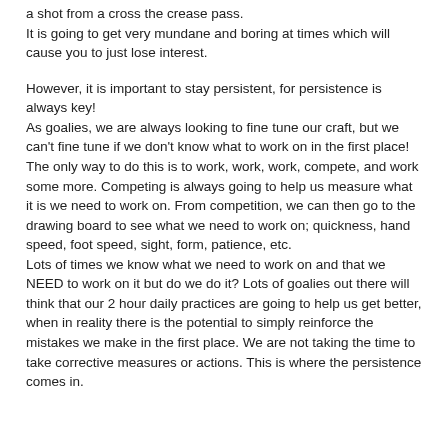a shot from a cross the crease pass. It is going to get very mundane and boring at times which will cause you to just lose interest.
However, it is important to stay persistent, for persistence is always key! As goalies, we are always looking to fine tune our craft, but we can't fine tune if we don't know what to work on in the first place! The only way to do this is to work, work, work, compete, and work some more. Competing is always going to help us measure what it is we need to work on. From competition, we can then go to the drawing board to see what we need to work on; quickness, hand speed, foot speed, sight, form, patience, etc. Lots of times we know what we need to work on and that we NEED to work on it but do we do it? Lots of goalies out there will think that our 2 hour daily practices are going to help us get better, when in reality there is the potential to simply reinforce the mistakes we make in the first place. We are not taking the time to take corrective measures or actions. This is where the persistence comes in.